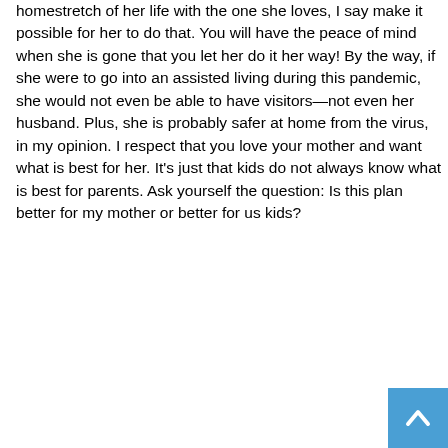homestretch of her life with the one she loves, I say make it possible for her to do that. You will have the peace of mind when she is gone that you let her do it her way! By the way, if she were to go into an assisted living during this pandemic, she would not even be able to have visitors—not even her husband. Plus, she is probably safer at home from the virus, in my opinion. I respect that you love your mother and want what is best for her. It's just that kids do not always know what is best for parents. Ask yourself the question: Is this plan better for my mother or better for us kids?